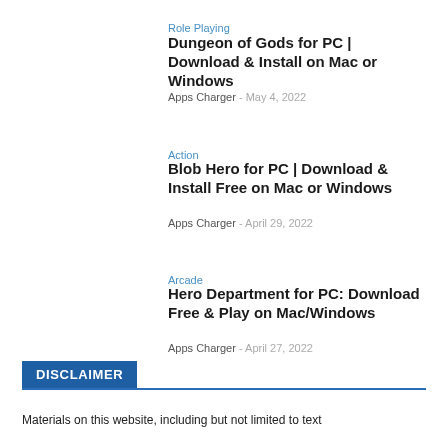Role Playing
Dungeon of Gods for PC | Download & Install on Mac or Windows
Apps Charger - May 4, 2022
Action
Blob Hero for PC | Download & Install Free on Mac or Windows
Apps Charger - April 29, 2022
Arcade
Hero Department for PC: Download Free & Play on Mac/Windows
Apps Charger - April 27, 2022
DISCLAIMER
Materials on this website, including but not limited to text